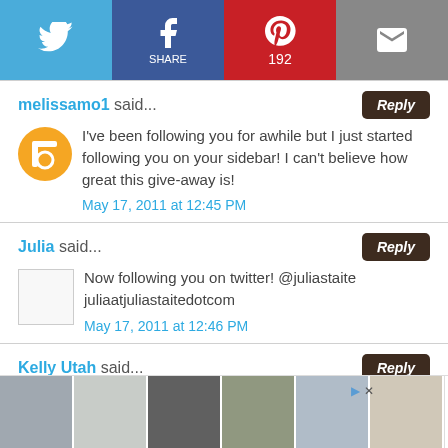[Figure (infographic): Social sharing bar with Twitter, Facebook (with share label), Pinterest (192 saves), and email icons on colored backgrounds]
melissamo1 said...
I've been following you for awhile but I just started following you on your sidebar! I can't believe how great this give-away is!
May 17, 2011 at 12:45 PM
Julia said...
Now following you on twitter! @juliastaite juliaatjuliastaitedotcom
May 17, 2011 at 12:46 PM
Kelly Utah said...
[Figure (infographic): Ad thumbnail bar at bottom showing 6 product image thumbnails and an Ashley Furniture logo]